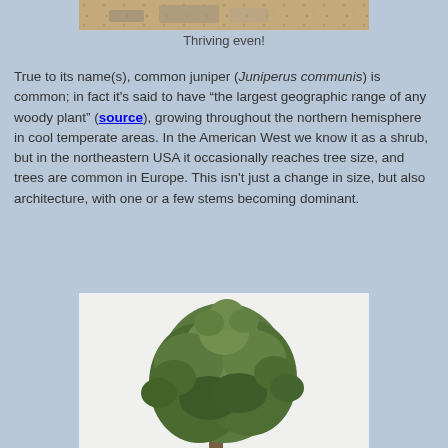[Figure (photo): Photo of juniper shrub or ground-level rocky terrain, partially visible at top of page]
Thriving even!
True to its name(s), common juniper (Juniperus communis) is common; in fact it's said to have “the largest geographic range of any woody plant” (source), growing throughout the northern hemisphere in cool temperate areas. In the American West we know it as a shrub, but in the northeastern USA it occasionally reaches tree size, and trees are common in Europe. This isn’t just a change in size, but also architecture, with one or a few stems becoming dominant.
[Figure (photo): Photo of a large common juniper tree with green foliage against a white/light background]